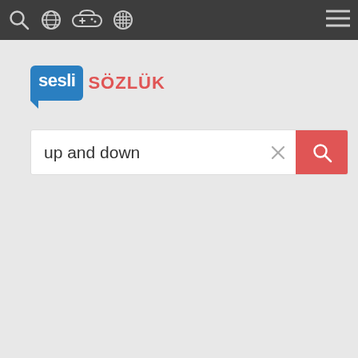[Figure (screenshot): Dark navigation bar with search, globe, gamepad, grid icons on the left and hamburger menu on the right]
[Figure (logo): Sesli Sözlük logo: 'sesli' in white on blue rounded speech bubble box, 'SÖZLÜK' in red-orange text]
up and down